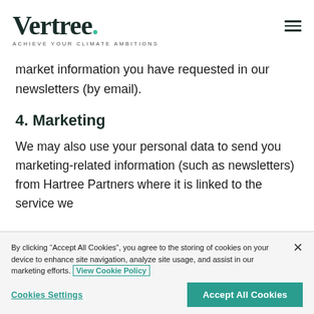Vertree. ACHIEVE YOUR CLIMATE AMBITIONS
market information you have requested in our newsletters (by email).
4. Marketing
We may also use your personal data to send you marketing-related information (such as newsletters) from Hartree Partners where it is linked to the service we
By clicking “Accept All Cookies”, you agree to the storing of cookies on your device to enhance site navigation, analyze site usage, and assist in our marketing efforts. View Cookie Policy
Cookies Settings
Accept All Cookies